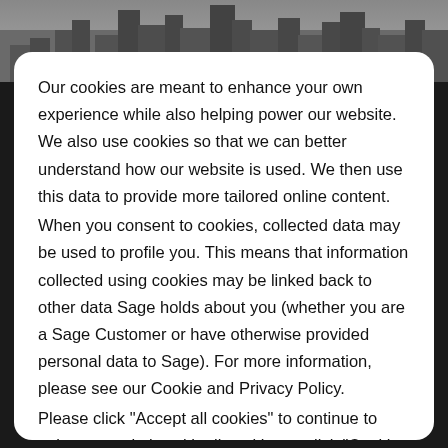[Figure (photo): Aerial black and white photograph of a city with tall buildings and skyscrapers visible at the top of the page]
Our cookies are meant to enhance your own experience while also helping power our website. We also use cookies so that we can better understand how our website is used. We then use this data to provide more tailored online content.
When you consent to cookies, collected data may be used to profile you. This means that information collected using cookies may be linked back to other data Sage holds about you (whether you are a Sage Customer or have otherwise provided personal data to Sage). For more information, please see our Cookie and Privacy Policy.
Please click "Accept all cookies" to continue to enjoy our website with all cookies or click "Cookie settings" to manage your cookie preferences.